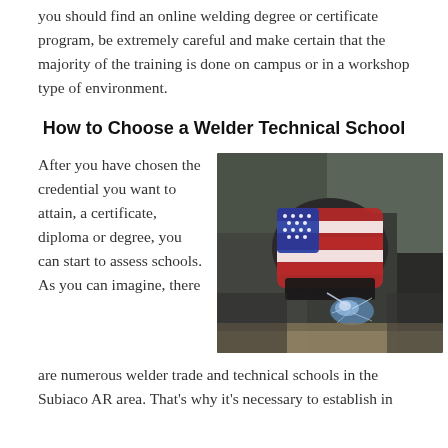you should find an online welding degree or certificate program, be extremely careful and make certain that the majority of the training is done on campus or in a workshop type of environment.
How to Choose a Welder Technical School
After you have chosen the credential you want to attain, a certificate, diploma or degree, you can start to assess schools. As you can imagine, there are numerous welder trade and technical schools in the Subiaco AR area. That's why it's necessary to establish in
[Figure (photo): A welder wearing an American flag-themed welding helmet, actively welding metal with bright blue sparks and light flying from the weld point.]